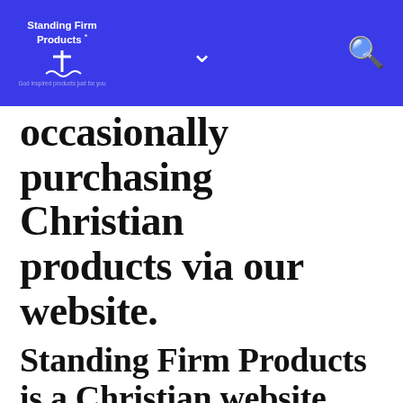Standing Firm Products
occasionally purchasing Christian products via our website.
Standing Firm Products is a Christian website and we as Christians and as a company are interested in you.  We review and promote Christian Books, Movies, Bible Studies, Christian gifts, and